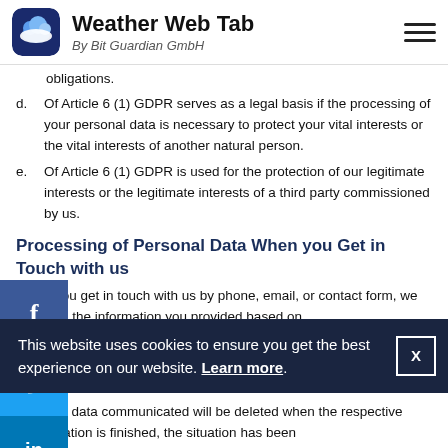Weather Web Tab by Bit Guardian GmbH
obligations.
d. Of Article 6 (1) GDPR serves as a legal basis if the processing of your personal data is necessary to protect your vital interests or the vital interests of another natural person.
e. Of Article 6 (1) GDPR is used for the protection of our legitimate interests or the legitimate interests of a third party commissioned by us.
Processing of Personal Data When you Get in Touch with us
When you get in touch with us by phone, email, or contact form, we will store the information you provided based on art (a) of article 6 (1) GDPR. The personal data communicated will be deleted when the respective conversation is finished, the situation has been
This website uses cookies to ensure you get the best experience on our website. Learn more.